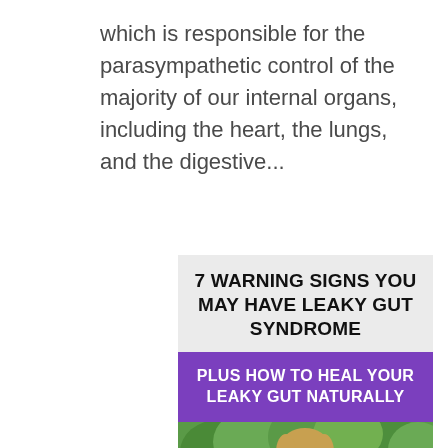which is responsible for the parasympathetic control of the majority of our internal organs, including the heart, the lungs, and the digestive...
« Older Entries
[Figure (infographic): Advertisement banner with two sections: a light gray top section with bold black text '7 WARNING SIGNS YOU MAY HAVE LEAKY GUT SYNDROME', a purple middle section with white text 'PLUS HOW TO HEAL YOUR LEAKY GUT NATURALLY', and a bottom photo of a smiling blonde woman with green trees in background.]